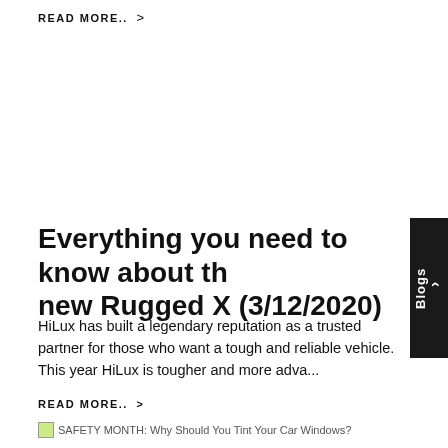READ MORE.. >
Everything you need to know about the new Rugged X (3/12/2020)
HiLux has built a legendary reputation as a trusted partner for those who want a tough and reliable vehicle. This year HiLux is tougher and more adva...
READ MORE.. >
SAFETY MONTH: Why Should You Tint Your Car Windows?
SAFETY MONTH: Why Should You Tint Your Car Windows? (26/11/2020)